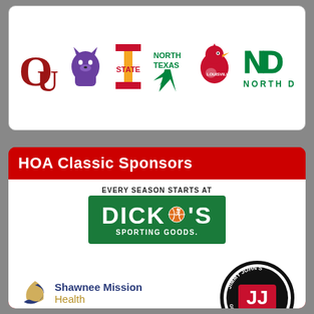[Figure (logo): University athletics logos: Oklahoma (OU), Kansas State (K-State wildcat), Iowa State (STATE), North Texas, Louisville Cardinals, North Dakota]
HOA Classic Sponsors
[Figure (logo): Dick's Sporting Goods logo with tagline 'EVERY SEASON STARTS AT DICK'S SPORTING GOODS.']
[Figure (logo): Shawnee Mission Health logo with tagline 'Much more than medicine.']
[Figure (logo): Jimmy John's Gourmet Sandwiches logo - circular badge, Since 1983]